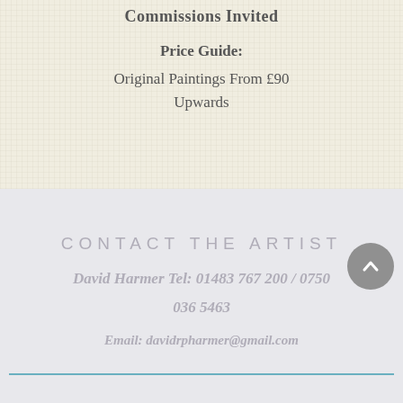Commissions Invited
Price Guide:
Original Paintings From £90
Upwards
CONTACT THE ARTIST
David Harmer Tel: 01483 767 200 / 0750
036 5463
Email: davidrpharmer@gmail.com